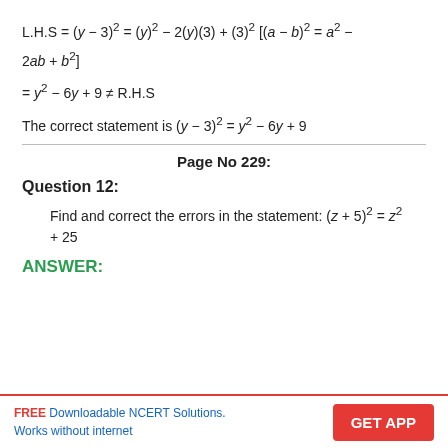The correct statement is (y − 3)² = y² − 6y + 9
Page No 229:
Question 12:
Find and correct the errors in the statement: (z + 5)² = z² + 25
ANSWER:
FREE Downloadable NCERT Solutions. Works without internet | GET APP